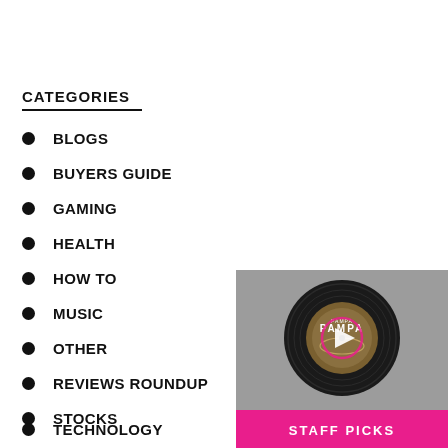CATEGORIES
BLOGS
BUYERS GUIDE
GAMING
HEALTH
HOW TO
MUSIC
OTHER
REVIEWS ROUNDUP
STOCKS
TECHNOLOGY
[Figure (photo): Staff Picks section showing a vinyl record label for PAMPA with a play button overlay, on a grey background, with a pink banner reading STAFF PICKS]